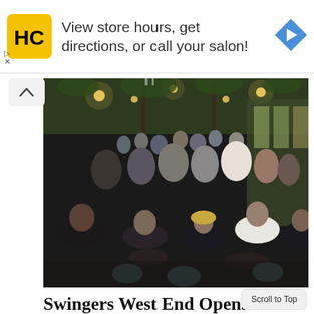[Figure (other): Advertisement banner for a hair salon chain (HC logo) with text 'View store hours, get directions, or call your salon!' and a navigation arrow icon]
[Figure (photo): Crowded restaurant/bar terrace scene at night with people socializing at tables, decorated with greenery and warm lighting. Indoor venue with large windows and lush plant decorations.]
Swingers West End Opens New All-Weather Roof Terrace
BY LLM REPORTERS